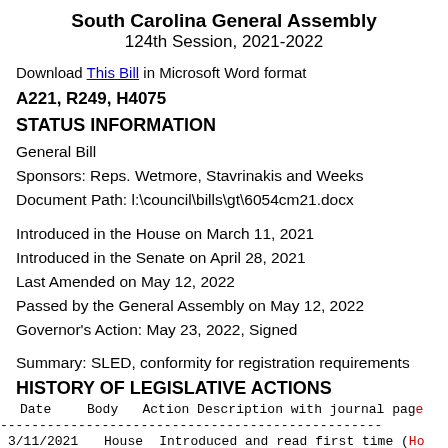South Carolina General Assembly
124th Session, 2021-2022
Download This Bill in Microsoft Word format
A221, R249, H4075
STATUS INFORMATION
General Bill
Sponsors: Reps. Wetmore, Stavrinakis and Weeks
Document Path: l:\council\bills\gt\6054cm21.docx
Introduced in the House on March 11, 2021
Introduced in the Senate on April 28, 2021
Last Amended on May 12, 2022
Passed by the General Assembly on May 12, 2022
Governor's Action: May 23, 2022, Signed
Summary: SLED, conformity for registration requirements
HISTORY OF LEGISLATIVE ACTIONS
| Date | Body | Action Description with journal page |
| --- | --- | --- |
| 3/11/2021 | House | Introduced and read first time (Ho |